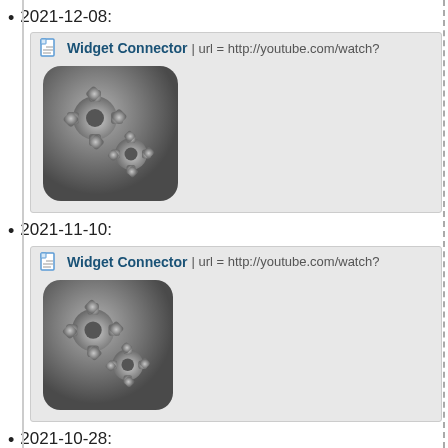2021-12-08:
[Figure (screenshot): Widget Connector box with gear icon image and url = http://youtube.com/watch?]
2021-11-10:
[Figure (screenshot): Widget Connector box with gear icon image and url = http://youtube.com/watch?]
2021-10-28:
[Figure (screenshot): Widget Connector box with gear icon image and url = http://youtube.com/watch?]
2021-10-13:
[Figure (screenshot): Widget Connector box with gear icon image and url = http://youtube.com/watch?]